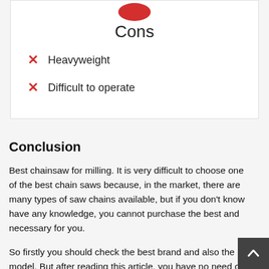[Figure (infographic): Red circle icon with X representing 'Cons' section header]
Cons
Heavyweight
Difficult to operate
Conclusion
Best chainsaw for milling. It is very difficult to choose one of the best chain saws because, in the market, there are many types of saw chains available, but if you don't know have any knowledge, you cannot purchase the best and necessary for you.
So firstly you should check the best brand and also the model. But after reading this article, you have no need or reach because in this I describe the best ever saw chain and their model and also tell the best brand and use of it.